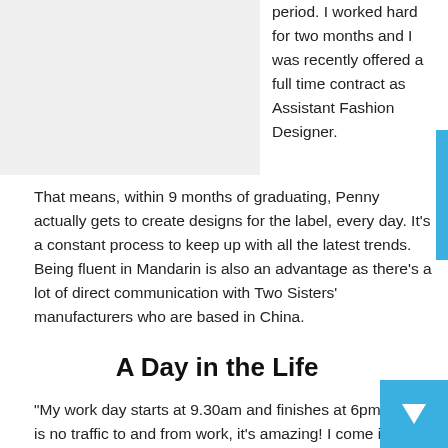[Figure (photo): Light gray rectangular image placeholder on the upper left of the page]
period. I worked hard for two months and I was recently offered a full time contract as Assistant Fashion Designer.
That means, within 9 months of graduating, Penny actually gets to create designs for the label, every day. It's a constant process to keep up with all the latest trends. Being fluent in Mandarin is also an advantage as there's a lot of direct communication with Two Sisters' manufacturers who are based in China.
A Day in the Life
“My work day starts at 9.30am and finishes at 6pm There is no traffic to and from work, it's amazing! I come in, grab a drin